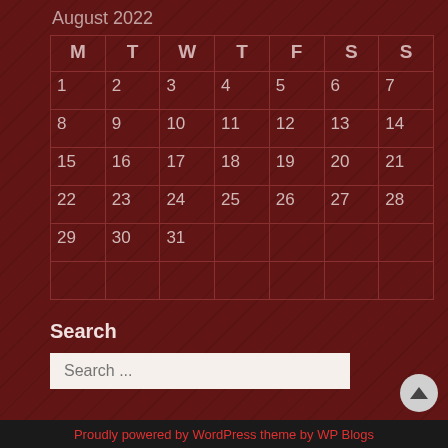August 2022
| M | T | W | T | F | S | S |
| --- | --- | --- | --- | --- | --- | --- |
| 1 | 2 | 3 | 4 | 5 | 6 | 7 |
| 8 | 9 | 10 | 11 | 12 | 13 | 14 |
| 15 | 16 | 17 | 18 | 19 | 20 | 21 |
| 22 | 23 | 24 | 25 | 26 | 27 | 28 |
| 29 | 30 | 31 |  |  |  |  |
|  |  |  |  |  |  |  |
Search
Search ...
Proudly powered by WordPress theme by WP Blogs